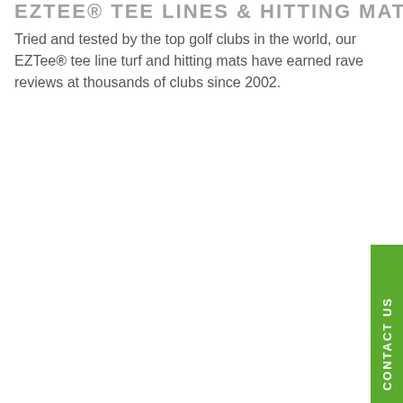EZTEE® TEE LINES & HITTING MATS
Tried and tested by the top golf clubs in the world, our EZTee® tee line turf and hitting mats have earned rave reviews at thousands of clubs since 2002.